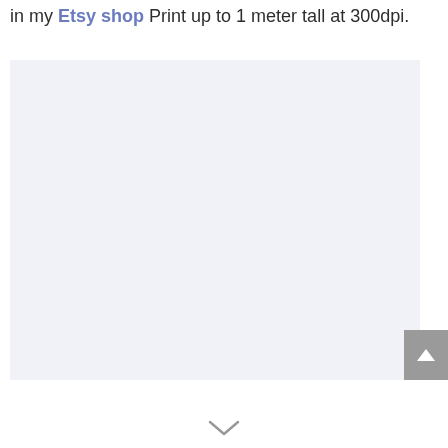in my Etsy shop Print up to 1 meter tall at 300dpi.
[Figure (other): Light blue-gray rectangular placeholder image area]
[Figure (other): Scroll to top button with upward arrow chevron, gray background]